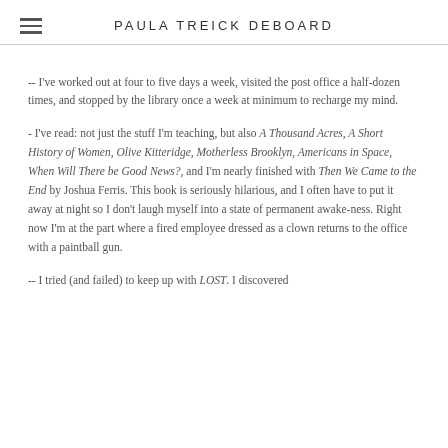PAULA TREICK DEBOARD
-- I've worked out at four to five days a week, visited the post office a half-dozen times, and stopped by the library once a week at minimum to recharge my mind.
- I've read: not just the stuff I'm teaching, but also A Thousand Acres, A Short History of Women, Olive Kitteridge, Motherless Brooklyn, Americans in Space, When Will There be Good News?, and I'm nearly finished with Then We Came to the End by Joshua Ferris. This book is seriously hilarious, and I often have to put it away at night so I don't laugh myself into a state of permanent awake-ness. Right now I'm at the part where a fired employee dressed as a clown returns to the office with a paintball gun.
-- I tried (and failed) to keep up with LOST. I discovered